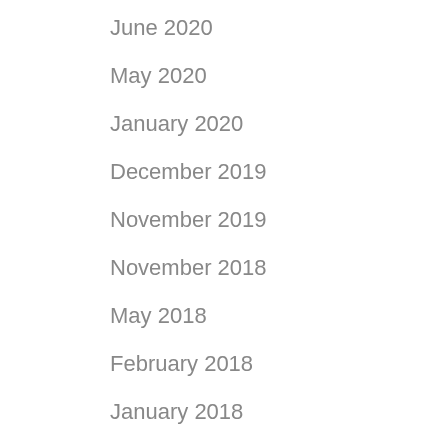June 2020
May 2020
January 2020
December 2019
November 2019
November 2018
May 2018
February 2018
January 2018
December 2017
August 2017
July 2017